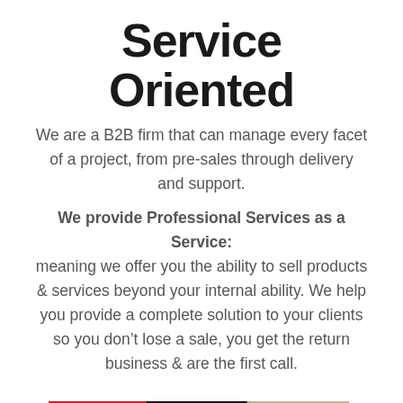Service Oriented
We are a B2B firm that can manage every facet of a project, from pre-sales through delivery and support.
We provide Professional Services as a Service: meaning we offer you the ability to sell products & services beyond your internal ability. We help you provide a complete solution to your clients so you don't lose a sale, you get the return business & are the first call.
[Figure (infographic): Three connected chevron/arrow shapes labeled left to right: THIN TECH (red), PARTNER (dark/black), CUSTOMER (tan/khaki)]